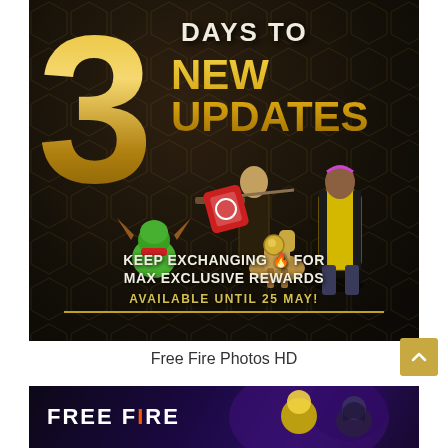[Figure (illustration): Free Fire game promotional banner showing '3 DAYS TO NEW UPDATES' in gold text on dark background, with game characters in outfits, a green dragon pet, a mechanical horse, a red card item, text 'KEEP EXCHANGING FOR MAX EXCLUSIVE REWARDS' and 'AVAILABLE UNTIL 25 MAY!']
Free Fire Photos HD
[Figure (illustration): Bottom banner showing Free Fire logo with orange flame letter 'I', and game characters on purple/dark background]